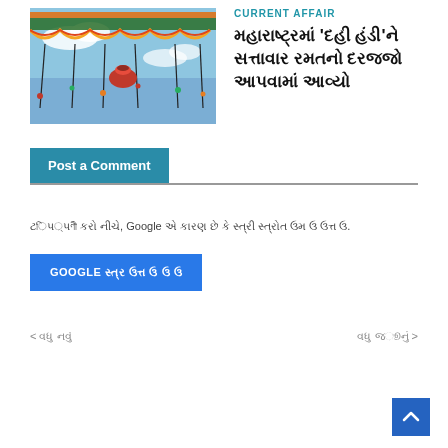[Figure (photo): Festival decoration image showing colorful hanging garlands and decorations against a blue sky, with a red pot in the center, black string decorations hanging down.]
CURRENT AFFAIR
મહારાષ્ટ્રમાં 'દહી હંડી'ને સત્તાવાર રમતનો દરજ્જો આપવામાં આવ્યો
Post a Comment
ટિપ્પણી કરો નીચે, Google એ કારણ છે કે સ્ત્રી સ્ત્રોત ઉમ ઉ ઉત્ત ઉ.
GOOGLE સ્ત્ર ઉત્ત ઉ ઉ ઉ
< વધુ નવું
વધુ જૂનું >